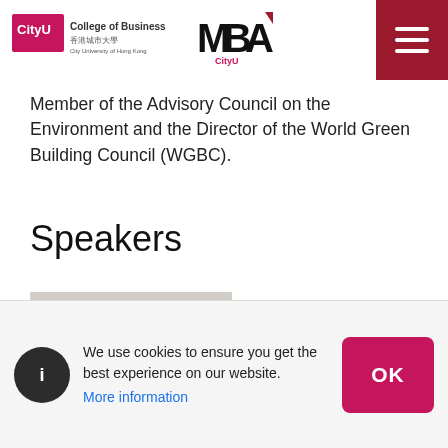CityU College of Business MBA — navigation header with hamburger menu
Member of the Advisory Council on the Environment and the Director of the World Green Building Council (WGBC).
Speakers
[Figure (photo): Headshot of a middle-aged Asian man with grey hair, glasses, wearing a dark suit, smiling against a light background.]
We use cookies to ensure you get the best experience on our website. More information